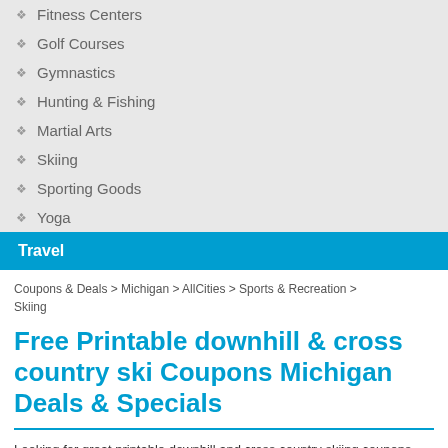Fitness Centers
Golf Courses
Gymnastics
Hunting & Fishing
Martial Arts
Skiing
Sporting Goods
Yoga
Travel
Coupons & Deals > Michigan > AllCities > Sports & Recreation > Skiing
Free Printable downhill & cross country ski Coupons Michigan Deals & Specials
Looking for great printable downhill and cross country skiing coupons and downhill and cross country skiing deals? Look no further, search